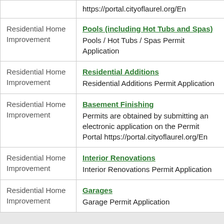| Category | Permit Type / Description |
| --- | --- |
|  | https://portal.cityoflaurel.org/En |
| Residential Home Improvement | Pools (including Hot Tubs and Spas)
Pools / Hot Tubs / Spas Permit Application |
| Residential Home Improvement | Residential Additions
Residential Additions Permit Application |
| Residential Home Improvement | Basement Finishing
Permits are obtained by submitting an electronic application on the Permit Portal https://portal.cityoflaurel.org/En |
| Residential Home Improvement | Interior Renovations
Interior Renovations Permit Application |
| Residential Home Improvement | Garages
Garage Permit Application |